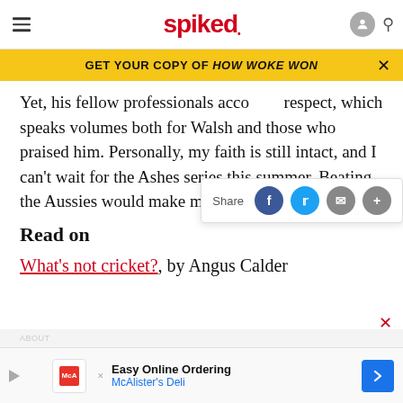spiked
GET YOUR COPY OF HOW WOKE WON
Yet, his fellow professionals acco[rded him] respect, which speaks volumes both for Walsh and those who praised him. Personally, my faith is still intact, and I can't wait for the Ashes series this summer. Beating the Aussies would make my year.
Read on
What's not cricket?, by Angus Calder
Easy Online Ordering McAlister's Deli